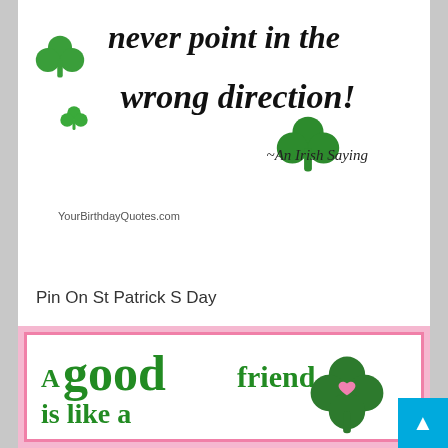[Figure (illustration): Top section of a decorative card with italic bold text reading 'never point in the wrong direction!' with shamrock clipart decorations on a white background, attributed to 'An Irish Saying' and watermarked 'YourBirthdayQuotes.com']
Pin On St Patrick S Day
[Figure (illustration): A decorative card with pink border on white background featuring green decorative text reading 'A good friend is like a 4-leaf clover: hard to find &' with a 4-leaf clover graphic with a pink heart. Bottom partially cut off.]